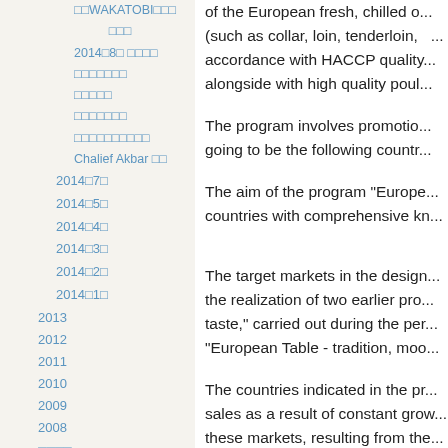□□WAKATOBI□□□□□
2014□8□ □□□□
□□□□□□□
□□□□□
□□□□□□□
□□□□□□□□□□
Chalief Akbar □□
2014□7□
2014□5□
2014□4□
2014□3□
2014□2□
2014□1□
2013
2012
2011
2010
2009
2008
□□□□
□□
of the European fresh, chilled o... (such as collar, loin, tenderloin, ... accordance with HACCP quality... alongside with high quality poul...
The program involves promotio... going to be the following countr...
The aim of the program "Europe... countries with comprehensive kn...
The target markets in the design... the realization of two earlier pro... taste," carried out during the per... "European Table - tradition, moo...
The countries indicated in the pr... sales as a result of constant grow... these markets, resulting from the...